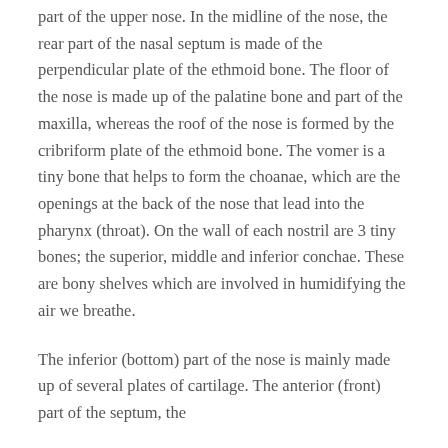part of the upper nose. In the midline of the nose, the rear part of the nasal septum is made of the perpendicular plate of the ethmoid bone. The floor of the nose is made up of the palatine bone and part of the maxilla, whereas the roof of the nose is formed by the cribriform plate of the ethmoid bone. The vomer is a tiny bone that helps to form the choanae, which are the openings at the back of the nose that lead into the pharynx (throat). On the wall of each nostril are 3 tiny bones; the superior, middle and inferior conchae. These are bony shelves which are involved in humidifying the air we breathe.
The inferior (bottom) part of the nose is mainly made up of several plates of cartilage. The anterior (front) part of the septum, the